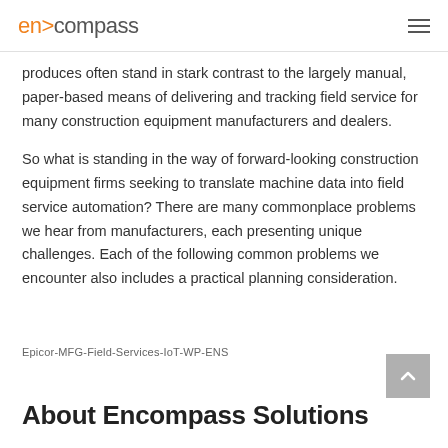en>compass
produces often stand in stark contrast to the largely manual, paper-based means of delivering and tracking field service for many construction equipment manufacturers and dealers.
So what is standing in the way of forward-looking construction equipment firms seeking to translate machine data into field service automation? There are many commonplace problems we hear from manufacturers, each presenting unique challenges. Each of the following common problems we encounter also includes a practical planning consideration.
Epicor-MFG-Field-Services-IoT-WP-ENS
About Encompass Solutions